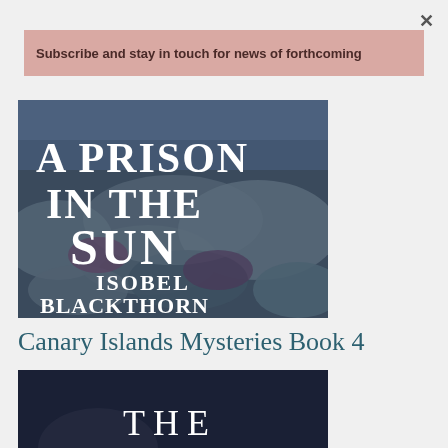×
Subscribe and stay in touch for news of forthcoming
[Figure (illustration): Book cover of 'A Prison in the Sun' by Isobel Blackthorn – large white serif text on rocky coastal landscape]
Canary Islands Mysteries Book 4
[Figure (illustration): Partial book cover showing 'THE' text in white on dark background]